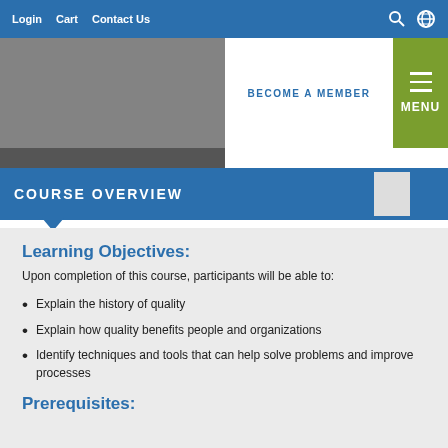Login  Cart  Contact Us
BECOME A MEMBER
MENU
COURSE OVERVIEW
Learning Objectives:
Upon completion of this course, participants will be able to:
Explain the history of quality
Explain how quality benefits people and organizations
Identify techniques and tools that can help solve problems and improve processes
Prerequisites: